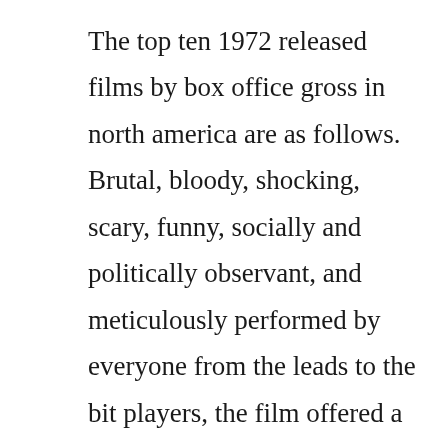The top ten 1972 released films by box office gross in north america are as follows. Brutal, bloody, shocking, scary, funny, socially and politically observant, and meticulously performed by everyone from the leads to the bit players, the film offered a panoramic glimpse. The goat horn 1994 the 1994 remake of the 1972 bulgarian classic. Voirfilm regarder gratuitement the peach thief vfhd full film. The goat horn is a 1972 bulgarian drama film directed by metodi andonov, starring anton gorchev and katya paskaleva. The goat horn is set in 17th century bulgaria where,